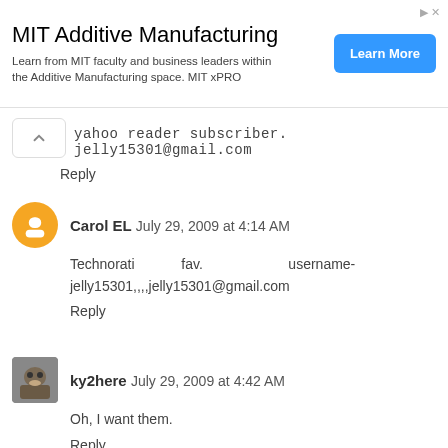[Figure (screenshot): MIT Additive Manufacturing advertisement banner with 'Learn More' button]
yahoo reader subscriber. jelly15301@gmail.com
Reply
Carol EL July 29, 2009 at 4:14 AM
Technorati fav. username-jelly15301,,,,jelly15301@gmail.com
Reply
ky2here July 29, 2009 at 4:42 AM
Oh, I want them.
Reply